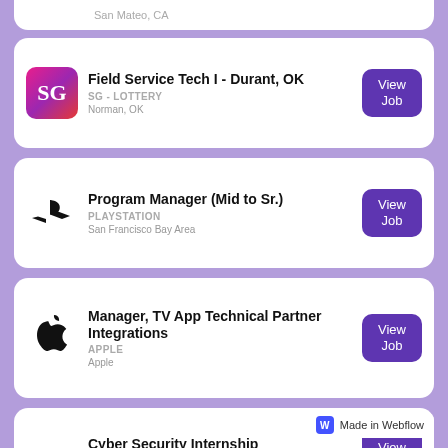San Mateo, CA
Field Service Tech I - Durant, OK | SG - LOTTERY | Norman, OK
Program Manager (Mid to Sr.) | PLAYSTATION | San Francisco Bay Area
Manager, TV App Technical Partner Integrations | APPLE | Apple
Cyber Security Internship | ACTIVISION | Sherman Oaks, California
Made in Webflow